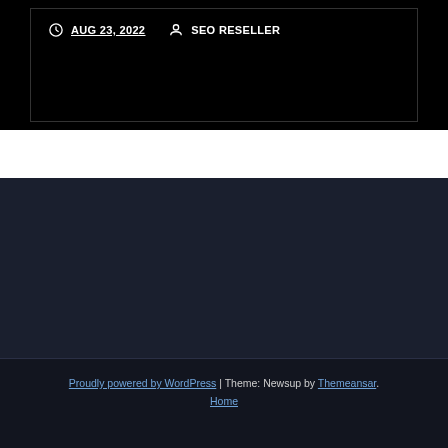AUG 23, 2022  SEO RESELLER
SEO Reseller Packages
SEO Reseller Packages
Proudly powered by WordPress | Theme: Newsup by Themeansar. Home